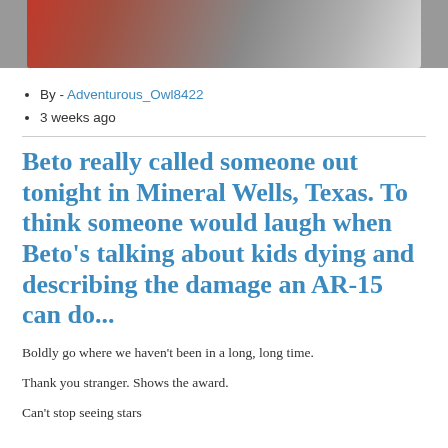[Figure (photo): Partial photo showing red fabric and gray fur/texture at the top of the page]
By - Adventurous_Owl8422
3 weeks ago
Beto really called someone out tonight in Mineral Wells, Texas. To think someone would laugh when Beto's talking about kids dying and describing the damage an AR-15 can do...
Boldly go where we haven't been in a long, long time.
Thank you stranger. Shows the award.
Can't stop seeing stars